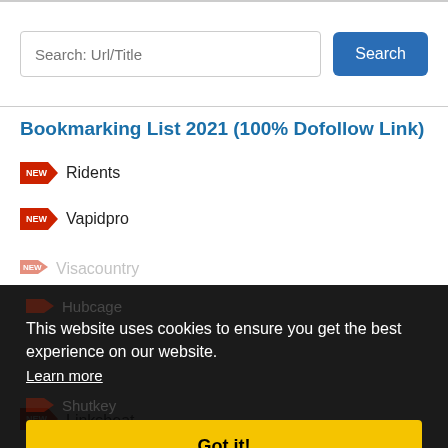[Figure (screenshot): Website search bar with input field labeled 'Search: Url/Title' and a blue 'Search' button]
Bookmarking List 2021 (100% Dofollow Link)
Ridents
Vapidpro
Visacountry
Hubcage
Shutkey
Linksbeat
This website uses cookies to ensure you get the best experience on our website.
Learn more
Got it!